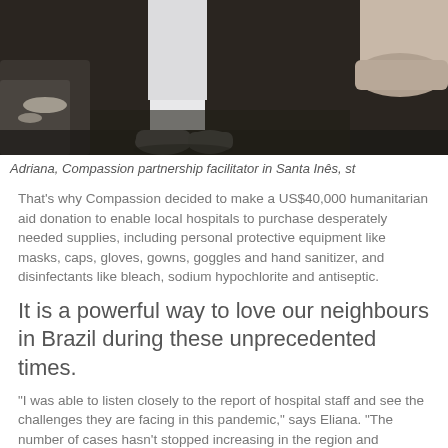[Figure (photo): Close-up photo showing lower legs and feet of a person dressed in white clothing and white shoes, standing on dark ground. Another person's shoe is visible at the top right.]
Adriana, Compassion partnership facilitator in Santa Inês, st
That's why Compassion decided to make a US$40,000 humanitarian aid donation to enable local hospitals to purchase desperately needed supplies, including personal protective equipment like masks, caps, gloves, gowns, goggles and hand sanitizer, and disinfectants like bleach, sodium hypochlorite and antiseptic.
It is a powerful way to love our neighbours in Brazil during these unprecedented times.
“I was able to listen closely to the report of hospital staff and see the challenges they are facing in this pandemic,” says Eliana. “The number of cases hasn’t stopped increasing in the region and hospitals are fighting to serve everyone, but it is complicated since they are short on supplies.”